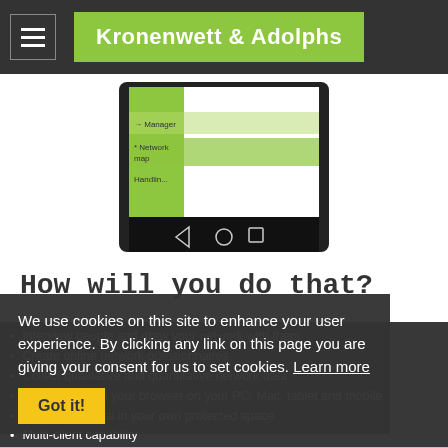Kronenwett & Adolphs
[Figure (screenshot): Android tablet/phone screenshot showing a navigation menu with items including Manager, Network map, and possibly more items, with Android navigation bar at bottom]
How will you do that?
Interview people and draw your network with them
Create online network questionnaires
Collect qualitative and quantitative network data
Runs directly in your browser on your PC, Mac, tablet and mobile
Stores your data in your own protected space
Multi-client capability
Create online questionnaires very easy
Ego questions
Namegenerator and nameinterpretator questions
Alter-alter relation questions
We use cookies on this site to enhance your user experience. By clicking any link on this page you are giving your consent for us to set cookies. Learn more